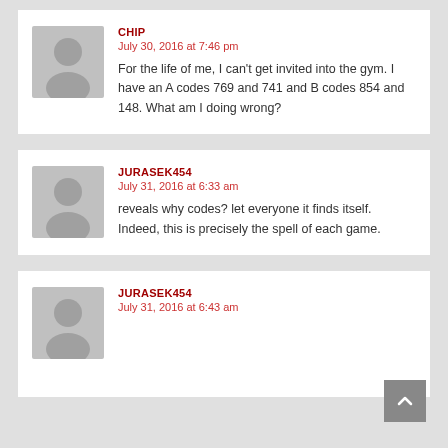CHIP
July 30, 2016 at 7:46 pm
For the life of me, I can't get invited into the gym. I have an A codes 769 and 741 and B codes 854 and 148. What am I doing wrong?
JURASEK454
July 31, 2016 at 6:33 am
reveals why codes? let everyone it finds itself. Indeed, this is precisely the spell of each game.
JURASEK454
July 31, 2016 at 6:43 am